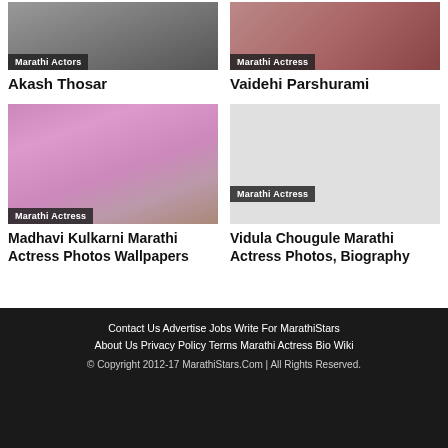[Figure (photo): Akash Thosar photo with Marathi Actors badge]
[Figure (photo): Vaidehi Parshurami photo with Marathi Actress badge]
Akash Thosar
Vaidehi Parshurami
[Figure (photo): Madhavi Kulkarni photo with Marathi Actress badge]
[Figure (photo): Vidula Chougule photo with Marathi Actress badge]
Madhavi Kulkarni Marathi Actress Photos Wallpapers
Vidula Chougule Marathi Actress Photos, Biography
Contact Us   Advertise   Jobs   Write For MarathiStars   About Us   Privacy Policy   Terms   Marathi Actress Bio Wiki   © Copyright 2012-17 MarathiStars.Com | All Rights Reserved.